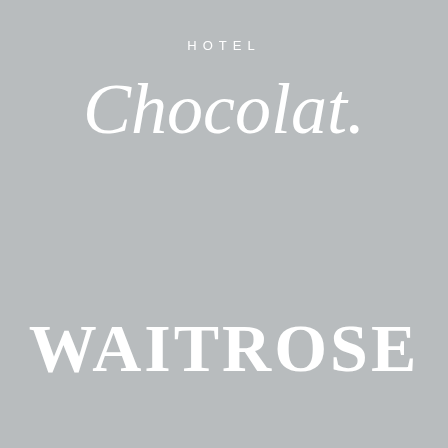[Figure (logo): Hotel Chocolat logo in white on grey background. 'HOTEL' in small spaced caps above 'Chocolat.' in large italic script font.]
[Figure (logo): Waitrose logo in white bold serif capitals on grey background.]